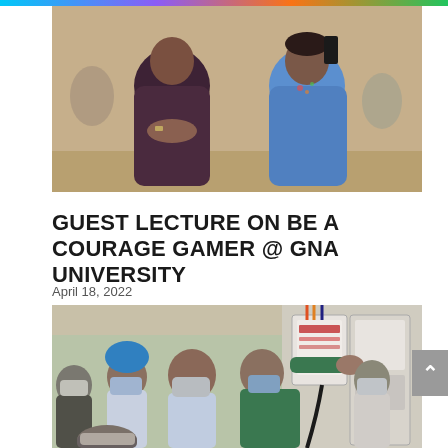[Figure (photo): Two people sitting side by side outdoors, man in dark maroon shirt on the left holding something, woman in blue shirt on the right holding a phone, brick wall in background]
GUEST LECTURE ON BE A COURAGE GAMER @ GNA UNIVERSITY
April 18, 2022
[Figure (photo): Group of people wearing face masks standing in front of electrical equipment/control panel. A woman in green reaching toward a white electrical box mounted on wall. Several people including a man in blue shirt, a man with turban, a person in uniform, looking on.]